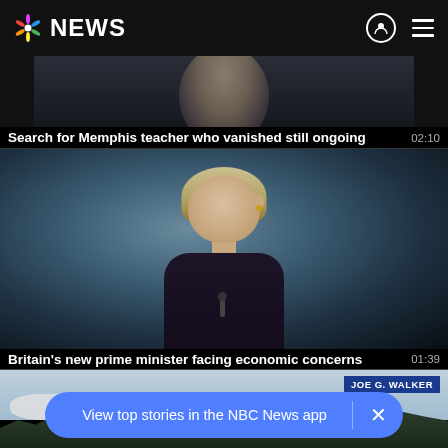NBC NEWS
[Figure (screenshot): Partially visible video thumbnail of a woman's face with dark background, for story about Memphis teacher]
Search for Memphis teacher who vanished still ongoing  02:10
[Figure (screenshot): Video thumbnail of a blonde woman in dark suit speaking at a podium, Britain's prime minister]
Britain's new prime minister facing economic concerns  01:39
[Figure (screenshot): Partially visible video thumbnail with treeline, sky, and JOE G. WALKER label]
View top stories in the NBC News app